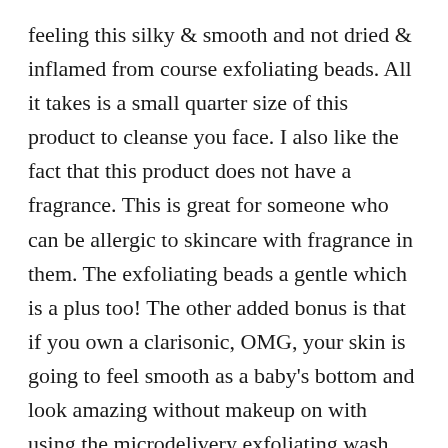feeling this silky & smooth and not dried & inflamed from course exfoliating beads. All it takes is a small quarter size of this product to cleanse you face. I also like the fact that this product does not have a fragrance. This is great for someone who can be allergic to skincare with fragrance in them. The exfoliating beads a gentle which is a plus too! The other added bonus is that if you own a clarisonic, OMG, your skin is going to feel smooth as a baby's bottom and look amazing without makeup on with using the microdelivery exfoliating wash with it!
If you are looking for a new cleanser/exfoliator for the new year I would definitely recommend this one for you to try. You can find this amazing cleanser at